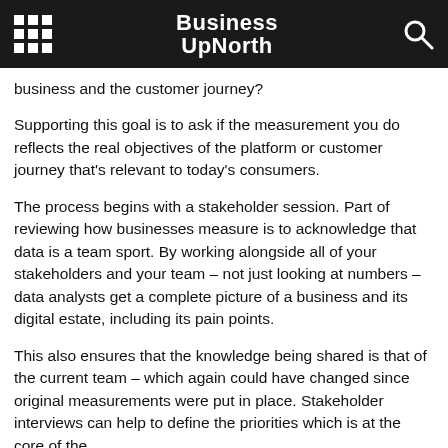Business UpNorth
business and the customer journey?
Supporting this goal is to ask if the measurement you do reflects the real objectives of the platform or customer journey that's relevant to today's consumers.
The process begins with a stakeholder session. Part of reviewing how businesses measure is to acknowledge that data is a team sport. By working alongside all of your stakeholders and your team – not just looking at numbers – data analysts get a complete picture of a business and its digital estate, including its pain points.
This also ensures that the knowledge being shared is that of the current team – which again could have changed since original measurements were put in place. Stakeholder interviews can help to define the priorities which is at the core of the…